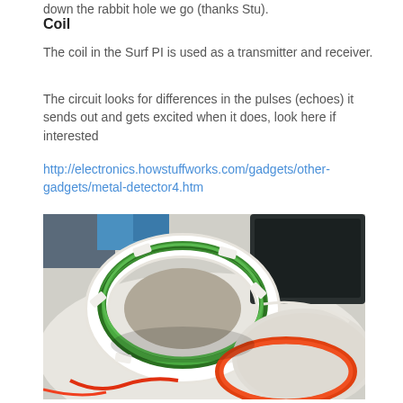down the rabbit hole we go (thanks Stu).
Coil
The coil in the Surf PI is used as a transmitter and receiver.
The circuit looks for differences in the pulses (echoes) it sends out and gets excited when it does, look here if interested
http://electronics.howstuffworks.com/gadgets/other-gadgets/metal-detector4.htm
[Figure (photo): Photograph of a hand-wound coil for a Surf PI metal detector, showing green and white wire wound around a circular form, placed on a white surface, with a red-orange wire coil visible at the bottom right, and a dark board/tablet in the upper right background.]